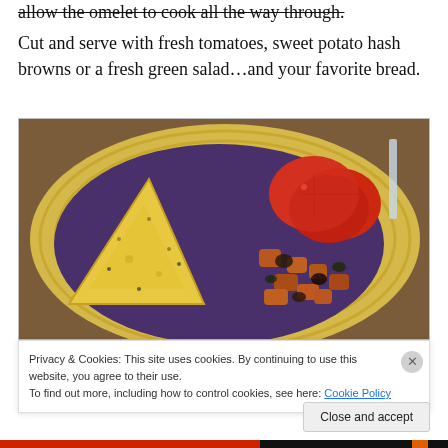allow the omelet to cook all the way through.
Cut and serve with fresh tomatoes, sweet potato hash browns or a fresh green salad…and your favorite bread.
[Figure (photo): A purple plate with a folded egg omelet, fresh sliced tomatoes, and sweet potato hash browns with mushrooms, served on a yellow woven placemat.]
Privacy & Cookies: This site uses cookies. By continuing to use this website, you agree to their use.
To find out more, including how to control cookies, see here: Cookie Policy
Close and accept